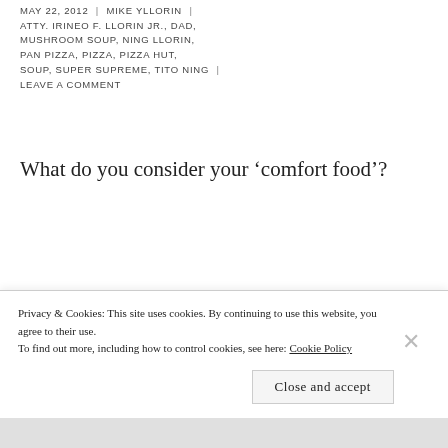MAY 22, 2012 | MIKE YLLORIN | ATTY. IRINEO F. LLORIN JR., DAD, MUSHROOM SOUP, NING LLORIN, PAN PIZZA, PIZZA, PIZZA HUT, SOUP, SUPER SUPREME, TITO NING | LEAVE A COMMENT
What do you consider your 'comfort food'?
For Char, it's macaroni and cheese. She says it makes her feel like a kid again.
Privacy & Cookies: This site uses cookies. By continuing to use this website, you agree to their use.
To find out more, including how to control cookies, see here: Cookie Policy
Close and accept